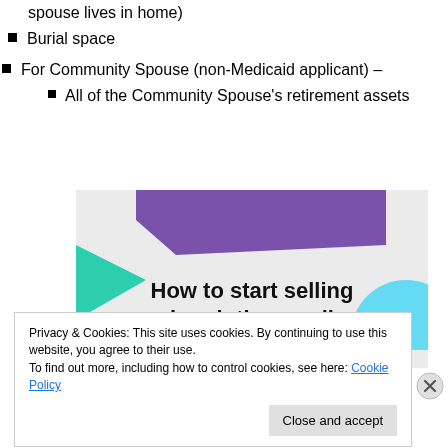spouse lives in home)
Burial space
For Community Spouse (non-Medicaid applicant) –
All of the Community Spouse's retirement assets
[Figure (illustration): Decorative graphic with purple, teal, and light blue geometric shapes on a gray background with text 'How to start selling subscriptions online']
Privacy & Cookies: This site uses cookies. By continuing to use this website, you agree to their use.
To find out more, including how to control cookies, see here: Cookie Policy
Close and accept